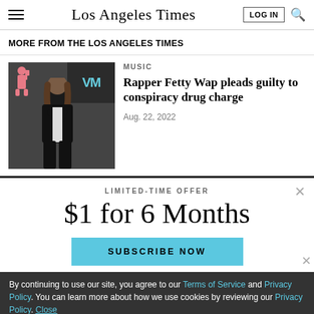Los Angeles Times
MORE FROM THE LOS ANGELES TIMES
[Figure (photo): Rapper Fetty Wap at MTV event, wearing black suit, with MTV logo visible in background]
Rapper Fetty Wap pleads guilty to conspiracy drug charge
Aug. 22, 2022
LIMITED-TIME OFFER
$1 for 6 Months
SUBSCRIBE NOW
By continuing to use our site, you agree to our Terms of Service and Privacy Policy. You can learn more about how we use cookies by reviewing our Privacy Policy. Close